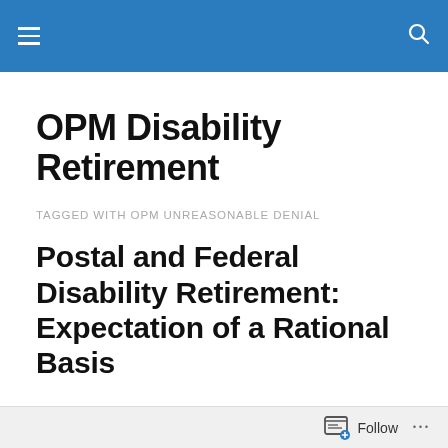OPM Disability Retirement — navigation bar
OPM Disability Retirement
TAGGED WITH OPM UNREASONABLE DENIAL
Postal and Federal Disability Retirement: Expectation of a Rational Basis
Giving a “reason” is the basis of rationality.  In some sense, such a statement is merely a tautology, a redundancy in propositional logic (as pointed out by